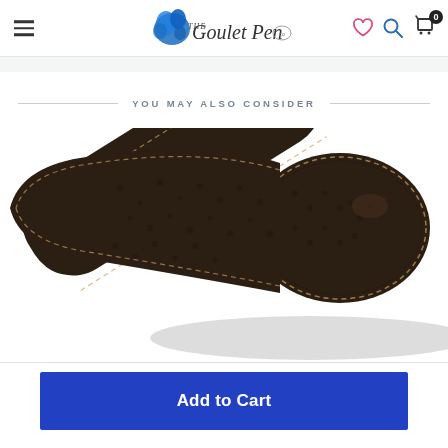The Goulet Pen Co. navigation header with hamburger menu, logo, wishlist, search, and cart icons
YOU MAY ALSO CONSIDER
[Figure (photo): Close-up photo of a dark brown textured leather pen case or pouch with visible stitching along the seams, shown at an angle]
Add to Cart